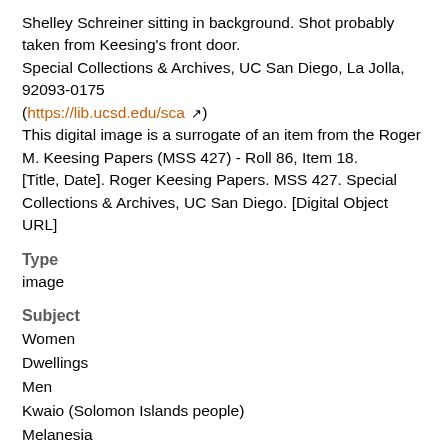Shelley Schreiner sitting in background. Shot probably taken from Keesing's front door.
Special Collections & Archives, UC San Diego, La Jolla, 92093-0175 (https://lib.ucsd.edu/sca)
This digital image is a surrogate of an item from the Roger M. Keesing Papers (MSS 427) - Roll 86, Item 18.
[Title, Date]. Roger Keesing Papers. MSS 427. Special Collections & Archives, UC San Diego. [Digital Object URL]
Type
image
Subject
Women
Dwellings
Men
Kwaio (Solomon Islands people)
Melanesia
Pacific Islands
Oceania
Solomon Islands
Malaita (Solomon Islands)
Schreiner, Shelley